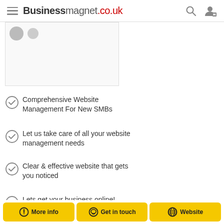Businessmagnet.co.uk
[Figure (screenshot): Partial screenshot of a business listing or product image placeholder with avatar circles]
Comprehensive Website Management For New SMBs
Let us take care of all your website management needs
Clear & effective website that gets you noticed
Lets get your business online!
More info | Get in touch | Website